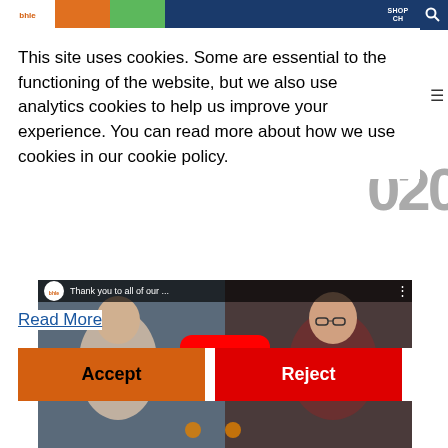Navigation bar with logo, tabs (orange, green, dark), SHOP and search icon
This site uses cookies. Some are essential to the functioning of the website, but we also use analytics cookies to help us improve your experience. You can read more about how we use cookies in our cookie policy.
Read More
Accept
Reject
[Figure (screenshot): YouTube video thumbnail showing two people sitting, with a YouTube play button overlay. The video title bar reads 'Thank you to all of our ...' with a channel icon and options button.]